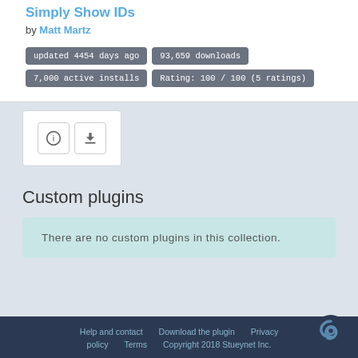Simply Show IDs
by Matt Martz
updated 4454 days ago | 93,659 downloads | 7,000 active installs | Rating: 100 / 100 (5 ratings)
[Figure (other): Info icon button and download icon button]
Custom plugins
There are no custom plugins in this collection.
Help and contact   Download the plugin   Privacy   policy   Terms   Copyright 2018 Stueynet Inc.